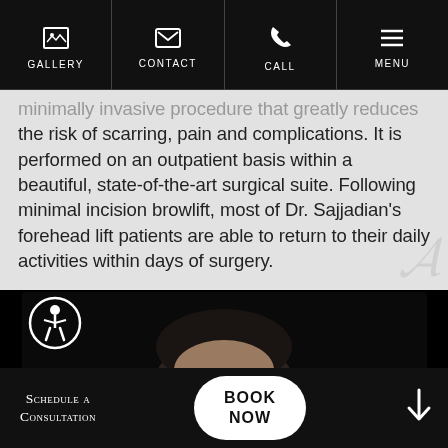GALLERY | CONTACT | CALL | MENU
minimally invasive procedure that greatly reduces the risk of scarring, pain and complications. It is performed on an outpatient basis within a beautiful, state-of-the-art surgical suite. Following minimal incision browlift, most of Dr. Sajjadian's forehead lift patients are able to return to their daily activities within days of surgery.
[Figure (photo): Dark photo of a person's face/forehead area, partially visible, against a dark background. Accessibility icon visible in bottom-left corner of photo area.]
Schedule a Consultation | BOOK NOW